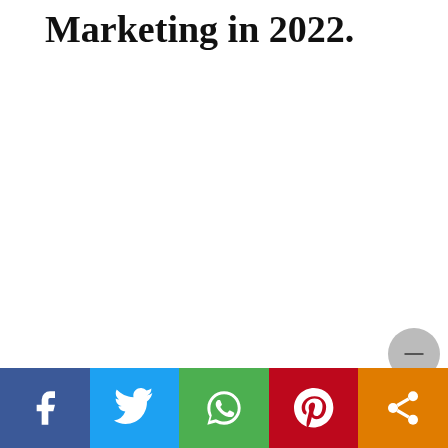Marketing in 2022.
[Figure (other): Social media share bar with Facebook (blue), Twitter (light blue), WhatsApp (green), Pinterest (red), and Share (orange) buttons, each with white icon]
[Figure (other): Small circular grey button in bottom right corner above the share bar]